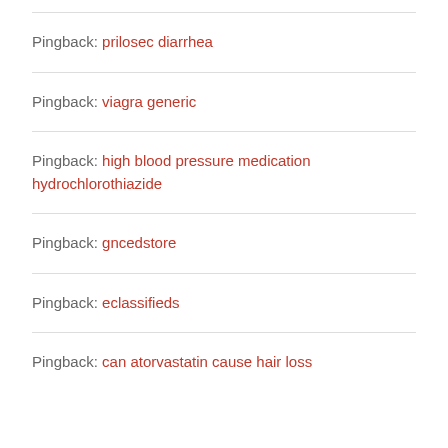Pingback: prilosec diarrhea
Pingback: viagra generic
Pingback: high blood pressure medication hydrochlorothiazide
Pingback: gncedstore
Pingback: eclassifieds
Pingback: can atorvastatin cause hair loss